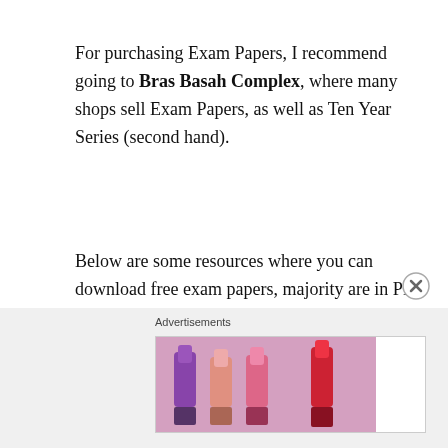For purchasing Exam Papers, I recommend going to Bras Basah Complex, where many shops sell Exam Papers, as well as Ten Year Series (second hand).
Below are some resources where you can download free exam papers, majority are in PDF format. Traditionally, the easiest exam papers to find are Secondary 4 ‘O’ Level, as well as JC2 ‘A’ Levels. It is harder to find Secondary 1/2 exam papers, as well as JC1 Promo Exam papers.
Advertisements
[Figure (photo): MAC cosmetics advertisement banner showing lipsticks on the left and MAC logo with SHOP NOW button on the right]